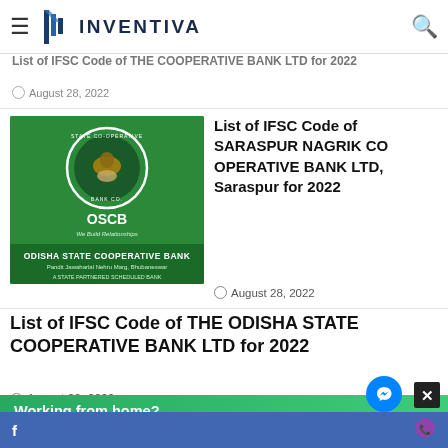INVENTIVA (navigation header with hamburger menu and search icon)
List of IFSC Code of THE COOPERATIVE BANK LTD for 2022
August 28, 2022
[Figure (photo): Odisha State Cooperative Bank (OSCB) logo on green background with circular emblem and text 'We Build Relationships', 'Pandit Jawaharlal Nehru Marg, Bhubaneswar', 'A State Partnered Scheduled Bank']
List of IFSC Code of SARASPUR NAGRIK CO OPERATIVE BANK LTD, Saraspur for 2022
August 28, 2022
List of IFSC Code of THE ODISHA STATE COOPERATIVE BANK LTD for 2022
August 28, 2022
Chat with Inventiva
Working from home?
Get your projects done on fiverr